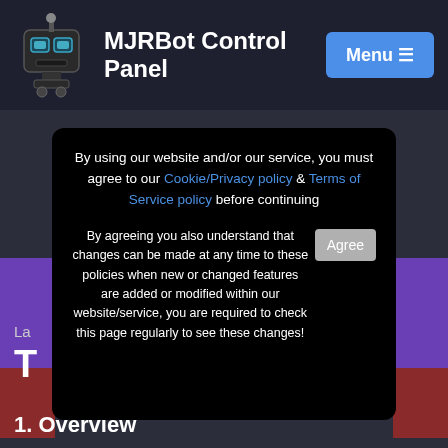MJRBot Control Panel
By using our website and/or our service, you must agree to our Cookie/Privacy policy & Terms of Service policy before continuing
By agreeing you also understand that changes can be made at any time to these policies when new or changed features are added or modified within our website/service, you are required to check this page regularly to see these changes!
La
T
1. Overview